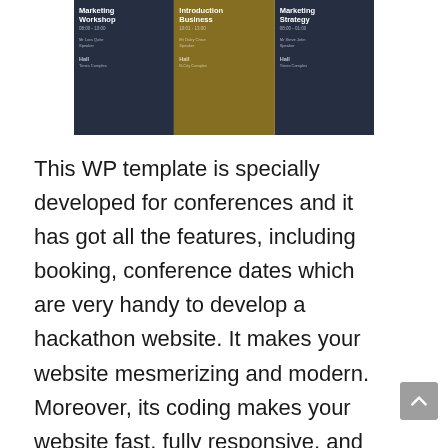[Figure (screenshot): A conference schedule widget showing three columns: 'Marketing Workshop' (Hall, Mr Lora Quite, Speaker), 'Introduction Business' (Hall, Mr Dalry Chice, Speaker, B-City Complex), and 'Marketing Strategy' (Hall, Mr Steve John, Speaker). Dark background with gold/yellow center column.]
This WP template is specially developed for conferences and it has got all the features, including booking, conference dates which are very handy to develop a hackathon website. It makes your website mesmerizing and modern. Moreover, its coding makes your website fast, fully responsive, and easily customizable. It is SEO optimized and provides custom-built URLs for all the pages. Receive meta titles and descriptions for designing each page. Moreover, you get more than 100 style variations, Google fonts, awesome